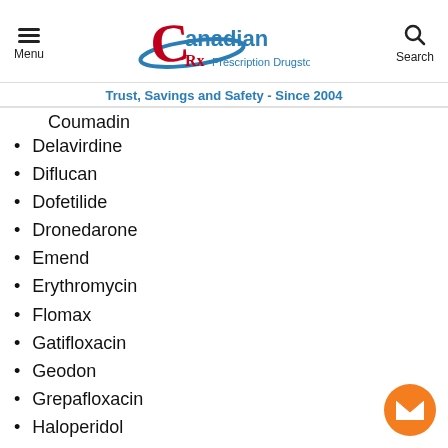Canadian Prescription Drugstore — Menu | Search
Trust, Savings and Safety - Since 2004
Coumadin
Delavirdine
Diflucan
Dofetilide
Dronedarone
Emend
Erythromycin
Flomax
Gatifloxacin
Geodon
Grepafloxacin
Haloperidol
Lexapro
Lithium